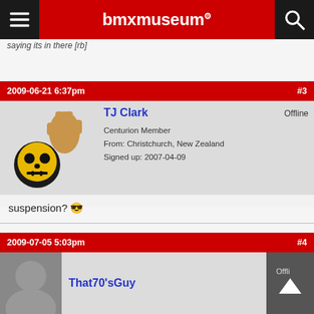bmxmuseum
saying its in there [rb]
2009-06-21 6:37pm   #3
TJ Clark
Offline
Centurion Member
From: Christchurch, New Zealand
Signed up: 2007-04-09
suspension? 😎
If you think the things I say out loud are bad, you should hear the things I keep to myself.
2009-07-05 5:03pm   #4
That70'sGuy
Offli...